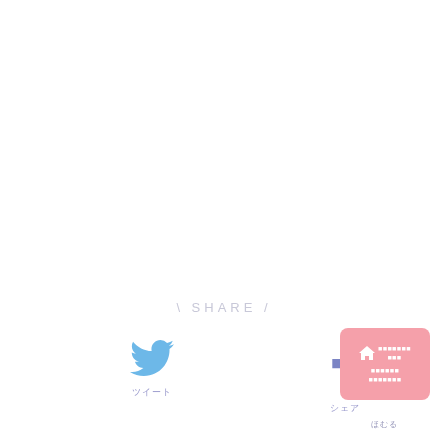\ SHARE /
[Figure (logo): Twitter bird icon in light blue]
ツイート
[Figure (logo): Facebook f icon in medium blue]
シェア
[Figure (illustration): Pink card with house icon and Japanese text]
ほむる